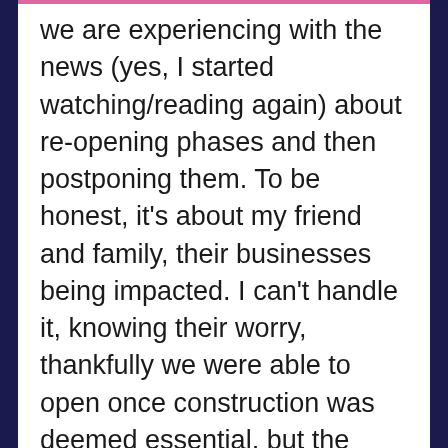we are experiencing with the news (yes, I started watching/reading again) about re-opening phases and then postponing them. To be honest, it's about my friend and family, their businesses being impacted. I can't handle it, knowing their worry, thankfully we were able to open once construction was deemed essential, but the anxiousness I felt before that was overwhelming. I can't imagine being like that for months.
I'm also feeling overwhelmed with all the talk about schools opening, we all have different opinions and what we consider what is best for our kids. I'm here to say, do you, do what you